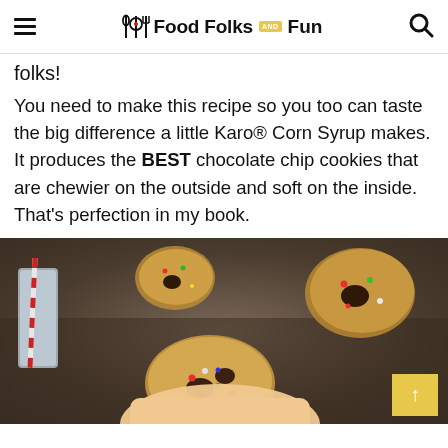Food Folks and Fun
folks!
You need to make this recipe so you too can taste the big difference a little Karo® Corn Syrup makes. It produces the BEST chocolate chip cookies that are chewier on the outside and soft on the inside. That's perfection in my book.
[Figure (photo): Close-up photo of decorated chocolate chip cookies with colorful sprinkles on a dark surface, with a hand holding one cookie and a glass of milk with a red and white striped straw in the background.]